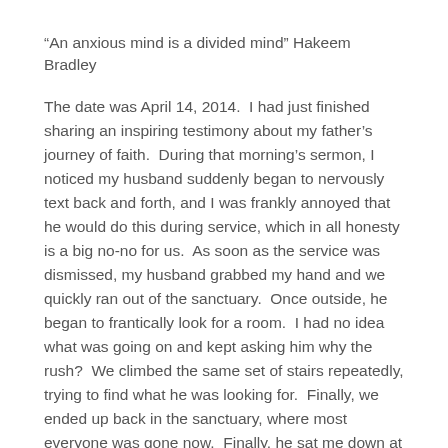“An anxious mind is a divided mind” Hakeem Bradley
The date was April 14, 2014.  I had just finished sharing an inspiring testimony about my father’s journey of faith.  During that morning’s sermon, I noticed my husband suddenly began to nervously text back and forth, and I was frankly annoyed that he would do this during service, which in all honesty is a big no-no for us.  As soon as the service was dismissed, my husband grabbed my hand and we quickly ran out of the sanctuary.  Once outside, he began to frantically look for a room.  I had no idea what was going on and kept asking him why the rush?  We climbed the same set of stairs repeatedly, trying to find what he was looking for.  Finally, we ended up back in the sanctuary, where most everyone was gone now.  Finally, he sat me down at the center of the auditorium, held my hands together and looking right into my eyes, said the words I will